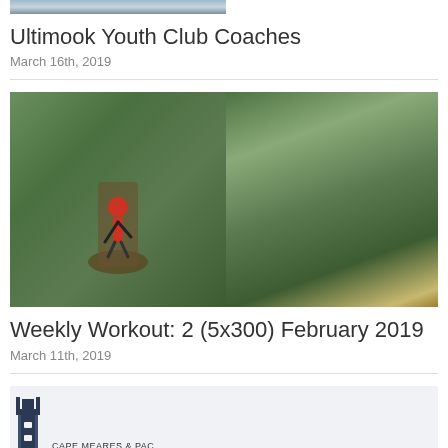[Figure (photo): Cropped top portion of a photo showing people, partially visible]
Ultimook Youth Club Coaches
March 16th, 2019
[Figure (photo): Person in red shirt running on a dirt trail path through green foliage]
Weekly Workout: 2 (5x300) February 2019
March 11th, 2019
[Figure (logo): Cape Meares & Pacific Marathon logo with lighthouse/tower graphic]
Three Capes Relay
March 11th, 2019